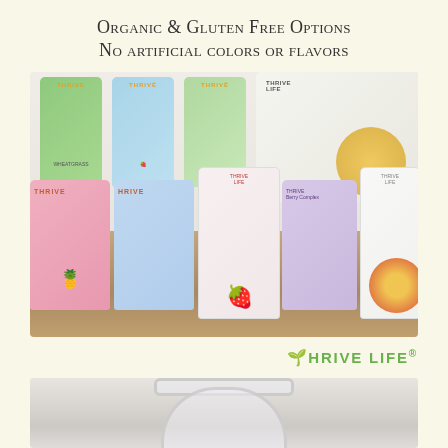Organic & Gluten Free Options
No artificial colors or flavors
[Figure (photo): Multiple colorful Thrive Life branded cans/containers arranged in two rows showing various food products including fruits, vegetables, and freeze-dried foods, displayed on a wooden surface]
[Figure (logo): Thrive Life logo in green text with a leaf/sprout symbol before the T]
[Figure (photo): A clear glass or plastic storage container/jar photographed from the front, partially visible at bottom of page]